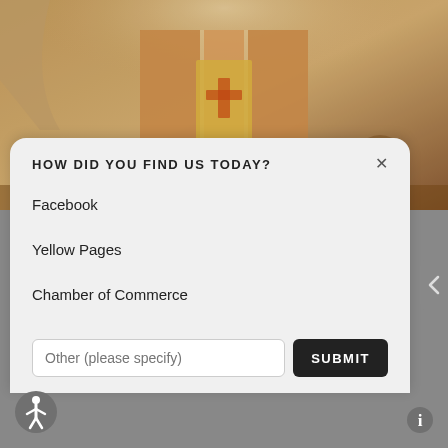[Figure (photo): Interior of a church or chapel with warm wood paneling, arched ceiling, altar area with hanging textile/banner, ambient warm lighting]
HOW DID YOU FIND US TODAY?
Facebook
Yellow Pages
Chamber of Commerce
Other (please specify)
SUBMIT